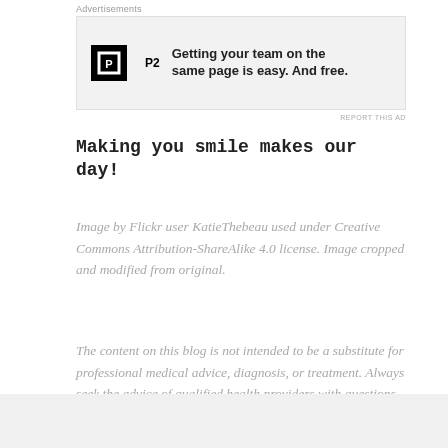Advertisements
[Figure (other): Advertisement banner for P2 app with black square icon and bold text reading: Getting your team on the same page is easy. And free.]
REPORT THIS AD
Making you smile makes our day!
Image by Flickr user KatieThebeau used under Creative Commons Attribution-ShareAlike 4.0 license. Image cropped and modified from original.
The content on this blog is not intended to be a substitute for professional medical advice, diagnosis, or treatment. Always seek the advice of qualified health providers with questions you may have regarding medical conditions.